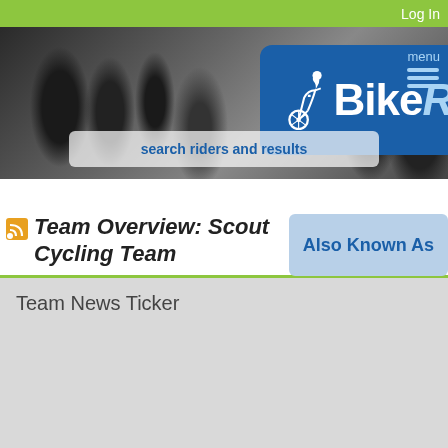Log In
[Figure (screenshot): BikeReg website header with cyclists racing in black and white background, BikeReg logo in blue box, search bar reading 'search riders and results', and menu button]
Team Overview: Scout Cycling Team
Also Known As
Team News Ticker